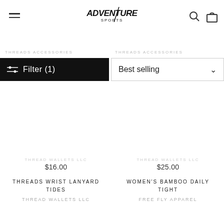Adventure Sports - navigation header with hamburger menu, logo, search and cart icons
Filter (1)
Best selling
$16.00
$25.00
THREADS WRIST LANYARD TIDES
THREAD WALLETS LLC
WOMEN'S BAMBOO DAILY TIGHT
FREE FLY APPAREL